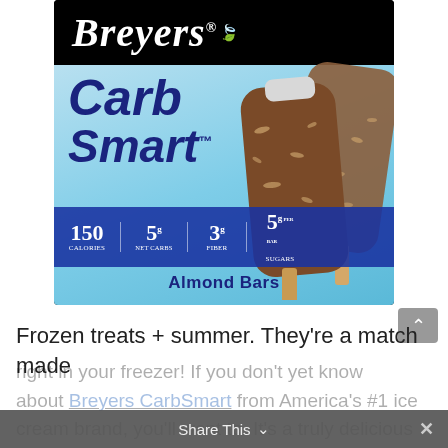[Figure (photo): Breyers CarbSmart Almond Bars product box with nutrition info: 150 calories, 5g net carbs, 3g fiber, 5g sugars per bar. Shows two chocolate-almond coated ice cream bars on a light blue background with Breyers logo on black.]
Frozen treats + summer. They’re a match made
right in your freezer! If you don’t yet know about Breyers CarbSmart from America’s #1 ice cream brand, you’ll want to. It’s a truly delicious line of sweet frozen treats with just 3 to 5
Share This